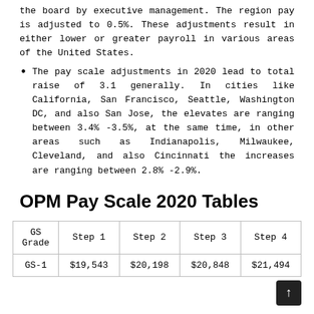the board by executive management. The region pay is adjusted to 0.5%. These adjustments result in either lower or greater payroll in various areas of the United States.
The pay scale adjustments in 2020 lead to total raise of 3.1 generally. In cities like California, San Francisco, Seattle, Washington DC, and also San Jose, the elevates are ranging between 3.4% -3.5%, at the same time, in other areas such as Indianapolis, Milwaukee, Cleveland, and also Cincinnati the increases are ranging between 2.8% -2.9%.
OPM Pay Scale 2020 Tables
| GS Grade | Step 1 | Step 2 | Step 3 | Step 4 |
| --- | --- | --- | --- | --- |
| GS-1 | $19,543 | $20,198 | $20,848 | $21,494 |